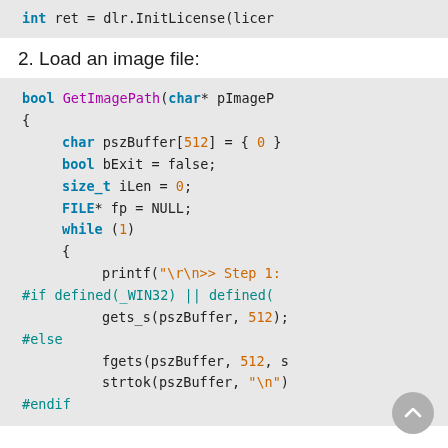int ret = dlr.InitLicense(licer
2. Load an image file:
bool GetImagePath(char* pImageP
{
    char pszBuffer[512] = { 0 }
    bool bExit = false;
    size_t iLen = 0;
    FILE* fp = NULL;
    while (1)
    {
        printf("\r\n>> Step 1:
#if defined(_WIN32) || defined(
        gets_s(pszBuffer, 512);
#else
        fgets(pszBuffer, 512, s
        strtok(pszBuffer, "\n")
#endif